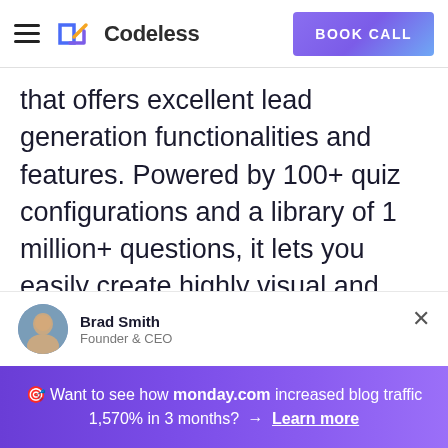Codeless | BOOK CALL
that offers excellent lead generation functionalities and features. Powered by 100+ quiz configurations and a library of 1 million+ questions, it lets you easily create highly visual and shareworthy lead quizzes that you can post on your website and social media or share via email & links to generate qualified leads.
Brad Smith
Founder & CEO
🎯 Want to see how monday.com increased blog traffic 1,570% in 3 months? → Learn more